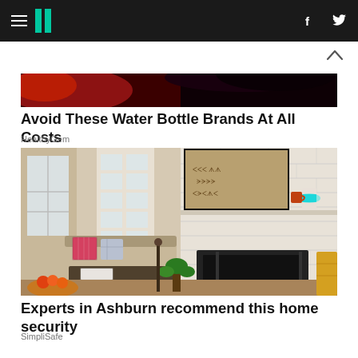HuffPost navigation bar with hamburger menu, logo, Facebook and Twitter icons
[Figure (photo): Cropped photo with red and dark tones, partial view of a person with dark hair and red fabric]
Avoid These Water Bottle Brands At All Costs
HealthyGem
[Figure (photo): Interior photo of a cozy living room with a white brick fireplace, framed artwork above the mantle, a couch with colorful pillows, a coffee table, plants, and a glowing teal smart home device on the mantle]
Experts in Ashburn recommend this home security
SimpliSafe